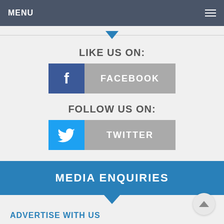MENU
[Figure (infographic): Facebook social media button with 'f' icon and FACEBOOK label]
LIKE US ON:
[Figure (infographic): Twitter social media button with bird icon and TWITTER label]
FOLLOW US ON:
MEDIA ENQUIRIES
ADVERTISE WITH US
We can offer you a totally integrated marketing opportunity using our newspaper, e–newsletter and website.